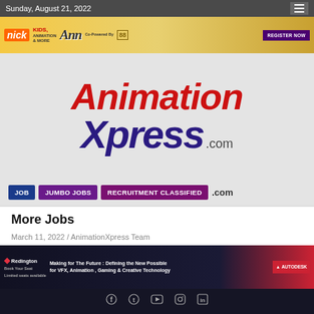Sunday, August 21, 2022
[Figure (screenshot): Advertisement banner for KIDS, Animation & More ANN Awards Co-Powered By eightyeight, with Nick logo and Register Now button]
[Figure (logo): AnimationXpress.com logo — 'Animation' in red italic bold, 'Xpress' in dark blue italic bold, '.com' in gray]
JOB
JUMBO JOBS
RECRUITMENT CLASSIFIED
More Jobs
March 11, 2022 / AnimationXpress Team
[Figure (screenshot): Redington and Autodesk advertisement banner: Making for The Future : Defining the New Possible for VFX, Animation, Gaming & Creative Technology]
[Figure (infographic): Social media icons: Facebook, Twitter, YouTube, Instagram, LinkedIn]
Copyright © 2022 AnimationXpress  AnimationXpress| All rights reserved.